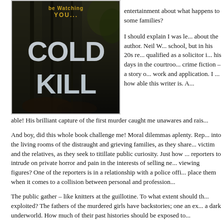[Figure (illustration): Book cover of 'Cold Kill' with dark atmospheric background, showing the title in large white letters against a dark, gritty scene]
entertainment about what happens to some families?

I should explain I was le... about the author. Neil W... school, but in his 20s re... qualified as a solicitor i... his days in the courtroo... crime fiction – a story o... work and application. I ... how able this writer is. A... able! His brilliant capture of the first murder caught me unawares and rais...
And boy, did this whole book challenge me! Moral dilemmas aplenty. Rep... into the living rooms of the distraught and grieving families, as they share... victim and the relatives, as they seek to titillate public curiosity. Just how ... reporters to intrude on private horror and pain in the interests of selling ne... viewing figures? One of the reporters is in a relationship with a police offi... place them when it comes to a collision between personal and profession...
The public gather – like knitters at the guillotine. To what extent should th... exploited? The fathers of the murdered girls have backstories; one an ex... a dark underworld. How much of their past histories should be exposed to...